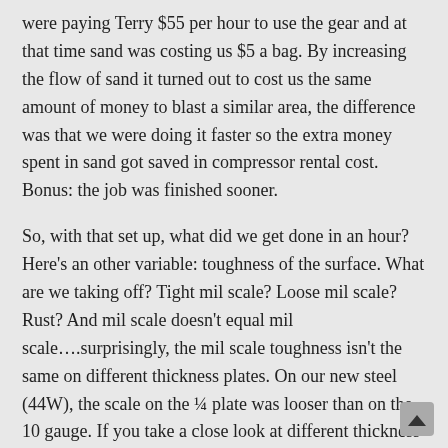were paying Terry $55 per hour to use the gear and at that time sand was costing us $5 a bag. By increasing the flow of sand it turned out to cost us the same amount of money to blast a similar area, the difference was that we were doing it faster so the extra money spent in sand got saved in compressor rental cost. Bonus: the job was finished sooner.
So, with that set up, what did we get done in an hour? Here's an other variable: toughness of the surface. What are we taking off? Tight mil scale? Loose mil scale? Rust? And mil scale doesn't equal mil scale....surprisingly, the mil scale toughness isn't the same on different thickness plates. On our new steel (44W), the scale on the ¼ plate was looser than on the 10 gauge. If you take a close look at different thickness plates you'll even see that they're different. With the same set up (250 cfm compressor, 100 psi, ~385 lbs of sand per hour) we would clean a ¼ inch plate, 5×10 ft in an hour, meanwhile we could only do a 4x8ft 10 ga sheet in the same time.